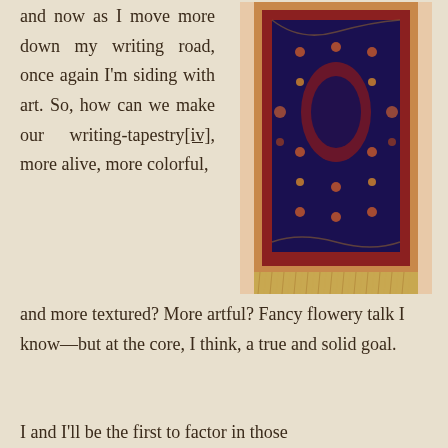and now as I move more down my writing road, once again I'm siding with art. So, how can we make our writing-tapestry[iv], more alive, more colorful,
[Figure (photo): A decorative Persian/Oriental rug hanging vertically, with intricate dark navy blue and red floral patterns, gold/cream fringe at the bottom, photographed against a light peach/cream background.]
and more textured?  More artful? Fancy flowery talk I know—but at the core, I think, a true and solid goal.
I and I'll be the first to factor in those